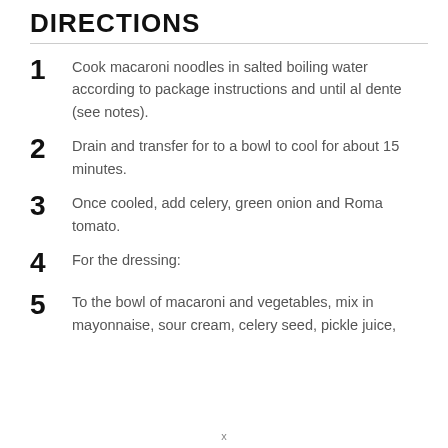DIRECTIONS
Cook macaroni noodles in salted boiling water according to package instructions and until al dente (see notes).
Drain and transfer for to a bowl to cool for about 15 minutes.
Once cooled, add celery, green onion and Roma tomato.
For the dressing:
To the bowl of macaroni and vegetables, mix in mayonnaise, sour cream, celery seed, pickle juice,
x